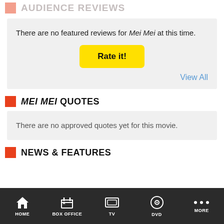AUDIENCE REVIEWS
There are no featured reviews for Mei Mei at this time.
Rate it!
View All
MEI MEI QUOTES
There are no approved quotes yet for this movie.
NEWS & FEATURES
HOME  BOX OFFICE  TV  DVD  MORE